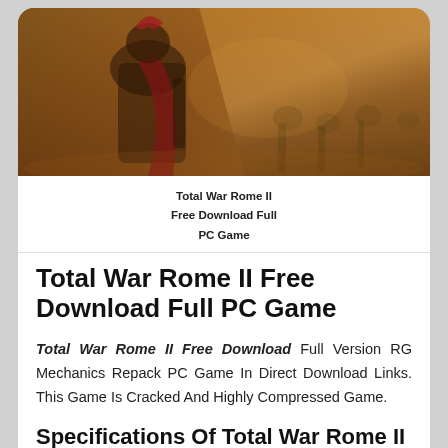[Figure (photo): Hero image of a Roman warrior in armor with red cape on a battlefield, warm golden-orange tones with soldiers in background]
Total War Rome II Free Download Full PC Game
Total War Rome II Free Download Full PC Game
Total War Rome II Free Download Full Version RG Mechanics Repack PC Game In Direct Download Links. This Game Is Cracked And Highly Compressed Game.
Specifications Of Total War Rome II PC Game
Genre : Strategy